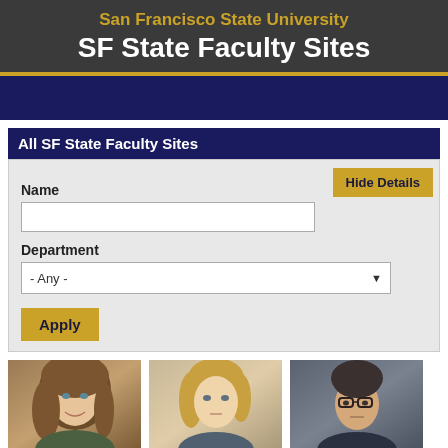San Francisco State University
SF State Faculty Sites
All SF State Faculty Sites
Hide Details
Name
Department
- Any -
Apply
[Figure (photo): Headshot of a young woman with long brown hair, smiling]
[Figure (photo): Headshot of a woman with short blonde hair]
[Figure (photo): Headshot of a man with short dark hair and glasses]